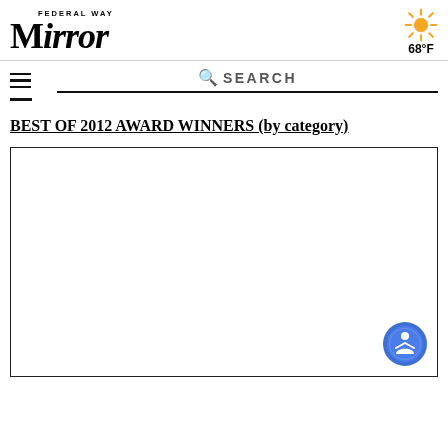Federal Way Mirror — 68°F
SEARCH
BEST OF 2012 AWARD WINNERS (by category)
[Figure (other): Empty bordered content box with accessibility icon button in bottom-right corner]